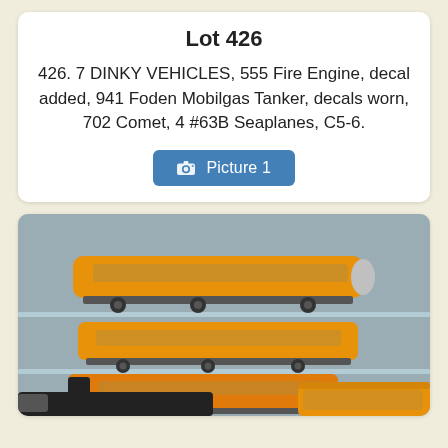Lot 426
426. 7 DINKY VEHICLES, 555 Fire Engine, decal added, 941 Foden Mobilgas Tanker, decals worn, 702 Comet, 4 #63B Seaplanes, C5-6.
[Figure (screenshot): Blue button labeled 'Picture 1' with camera icon]
[Figure (photo): Photo of orange toy train passenger cars displayed on glass shelves, with a darker locomotive visible at bottom.]